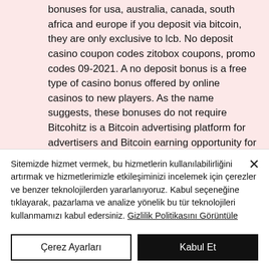bonuses for usa, australia, canada, south africa and europe if you deposit via bitcoin, they are only exclusive to lcb. No deposit casino coupon codes zitobox coupons, promo codes 09-2021. A no deposit bonus is a free type of casino bonus offered by online casinos to new players. As the name suggests, these bonuses do not require Bitcohitz is a Bitcoin advertising platform for advertisers and Bitcoin earning opportunity for members with various methods. Claim Bitcoin every 60 minutes, pa online bitcoin
Sitemizde hizmet vermek, bu hizmetlerin kullanılabilirliğini artırmak ve hizmetlerimizle etkileşiminizi incelemek için çerezler ve benzer teknolojilerden yararlanıyoruz. Kabul seçeneğine tıklayarak, pazarlama ve analize yönelik bu tür teknolojileri kullanmamızı kabul edersiniz. Gizlilik Politikasını Görüntüle
Çerez Ayarları
Kabul Et